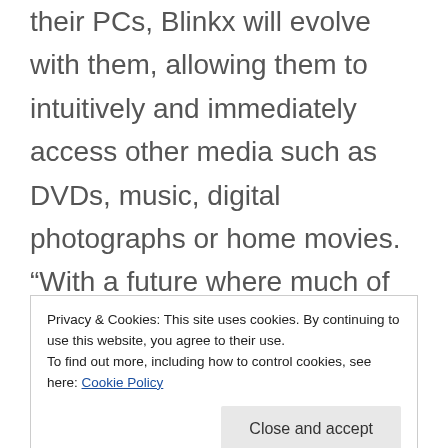their PCs, Blinkx will evolve with them, allowing them to intuitively and immediately access other media such as DVDs, music, digital photographs or home movies. “With a future where much of our life will be digital and portable, Blinkx will continue to evolve to reflect the growing need to make sense and link together all our digital
Privacy & Cookies: This site uses cookies. By continuing to use this website, you agree to their use.
To find out more, including how to control cookies, see here: Cookie Policy
that is extending the way people find and